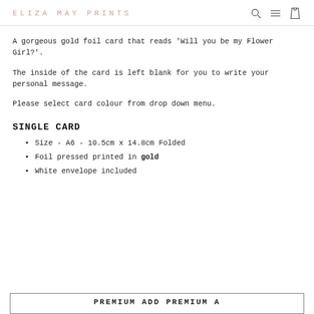ELIZA MAY PRINTS
A gorgeous gold foil card that reads 'Will you be my Flower Girl?'.
The inside of the card is left blank for you to write your personal message.
Please select card colour from drop down menu.
SINGLE CARD
Size - A6 - 10.5cm x 14.8cm Folded
Foil pressed printed in gold
White envelope included